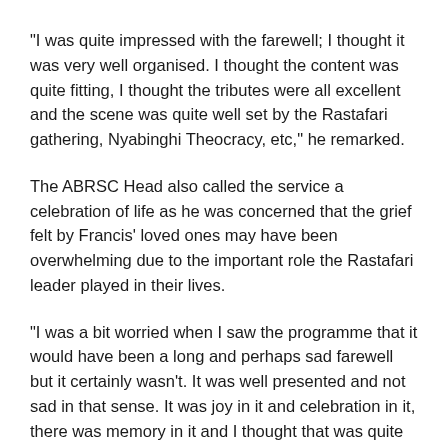“I was quite impressed with the farewell; I thought it was very well organised. I thought the content was quite fitting, I thought the tributes were all excellent and the scene was quite well set by the Rastafari gathering, Nyabinghi Theocracy, etc,” he remarked.
The ABRSC Head also called the service a celebration of life as he was concerned that the grief felt by Francis’ loved ones may have been overwhelming due to the important role the Rastafari leader played in their lives.
“I was a bit worried when I saw the programme that it would have been a long and perhaps sad farewell but it certainly wasn’t. It was well presented and not sad in that sense. It was joy in it and celebration in it, there was memory in it and I thought that was quite good,” O’Marde said.
While delivering Kin Frank-I’s eulogy at the funeral last Friday, O’Marde described the more than half of a century friendship